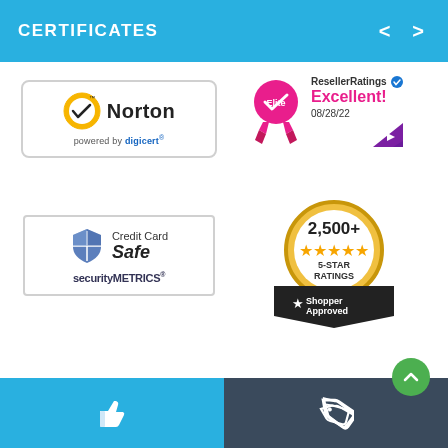CERTIFICATES
[Figure (logo): Norton powered by digicert security badge]
[Figure (logo): ResellerRatings Elite Excellent! 08/28/22 badge]
[Figure (logo): SecurityMetrics Credit Card Safe badge]
[Figure (logo): Shopper Approved 2,500+ 5-Star Ratings badge]
[Figure (logo): Blue tile with thumbs-up icon]
[Figure (logo): Dark tile with price tag icon]